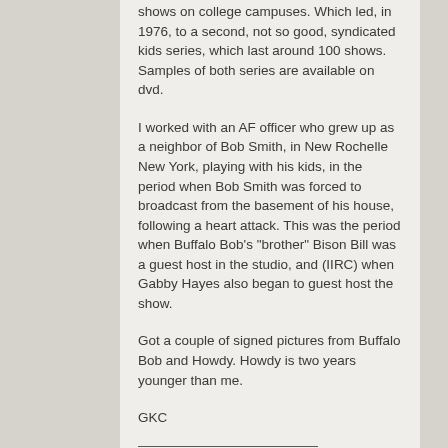shows on college campuses. Which led, in 1976, to a second, not so good, syndicated kids series, which last around 100 shows. Samples of both series are available on dvd.
I worked with an AF officer who grew up as a neighbor of Bob Smith, in New Rochelle New York, playing with his kids, in the period when Bob Smith was forced to broadcast from the basement of his house, following a heart attack. This was the period when Buffalo Bob's "brother" Bison Bill was a guest host in the studio, and (IIRC) when Gabby Hayes also began to guest host the show.
Got a couple of signed pictures from Buffalo Bob and Howdy. Howdy is two years younger than me.
GKC